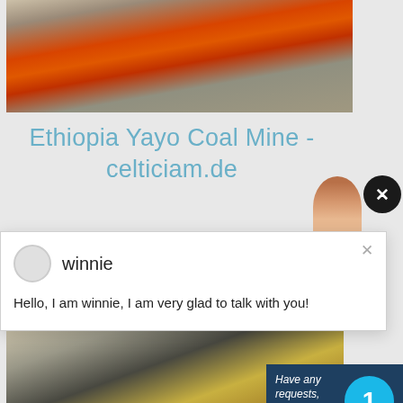[Figure (photo): Mining equipment - orange/red crusher machine on rocky ground]
Ethiopia Yayo Coal Mine - celticiam.de
[Figure (photo): Partial photo of a person with brown/auburn hair (avatar/profile image)]
[Figure (screenshot): Chat popup overlay with winnie avatar and message: Hello, I am winnie, I am very glad to talk with you!]
winnie
Hello, I am winnie, I am very glad to talk with you!
CHAT ONLINE
Have any requests, click here
1
Enquiry
limingjlmofen@sina.com
[Figure (photo): Mining/industrial scene with machinery and yellow equipment]